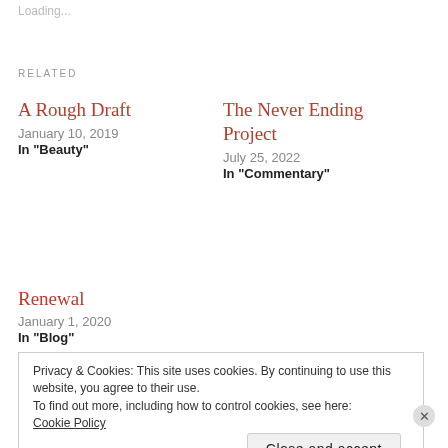Loading...
RELATED
A Rough Draft
January 10, 2019
In "Beauty"
The Never Ending Project
July 25, 2022
In "Commentary"
Renewal
January 1, 2020
In "Blog"
Privacy & Cookies: This site uses cookies. By continuing to use this website, you agree to their use.
To find out more, including how to control cookies, see here:
Cookie Policy
Close and accept